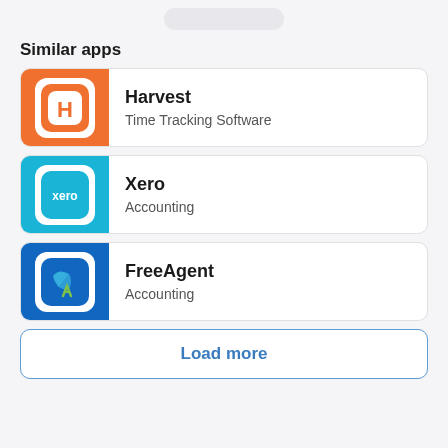Similar apps
Harvest – Time Tracking Software
Xero – Accounting
FreeAgent – Accounting
Load more